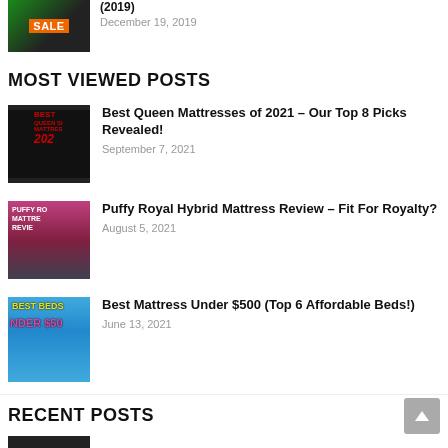[Figure (photo): Thumbnail image with SALE text and person, showing date December 19, 2019]
(2019)
December 19, 2019
MOST VIEWED POSTS
[Figure (photo): Thumbnail for Best Queen Mattresses 2021 article]
Best Queen Mattresses of 2021 – Our Top 8 Picks Revealed!
September 7, 2021
[Figure (photo): Thumbnail for Puffy Royal Hybrid Mattress Review article]
Puffy Royal Hybrid Mattress Review – Fit For Royalty?
August 5, 2021
[Figure (photo): Thumbnail for Best Mattress Under $500 article]
Best Mattress Under $500 (Top 6 Affordable Beds!)
June 13, 2021
RECENT POSTS
[Figure (photo): Small thumbnail image at bottom]